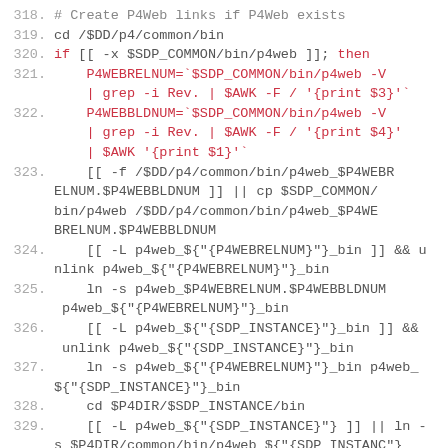[Figure (screenshot): Code listing showing shell script lines 318-330 with line numbers in gray and code in gray/red colors]